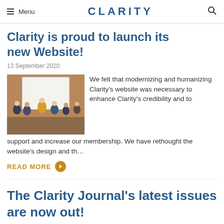Menu | CLARITY
Clarity is proud to launch its new Website!
13 September 2020
[Figure (photo): People in a presentation room with a projector screen]
We felt that modernizing and humanizing Clarity's website was necessary to enhance Clarity's credibility and to support and increase our membership. We have rethought the website's design and th…
READ MORE
The Clarity Journal's latest issues are now out!
1 May 2020